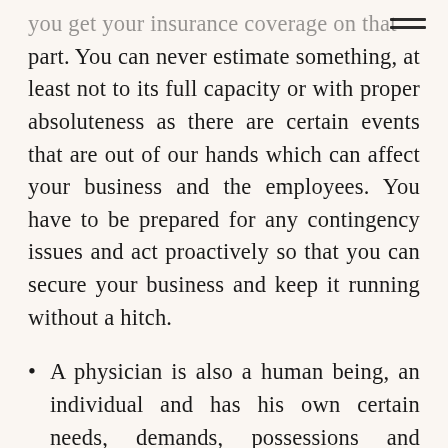you get your insurance coverage on that part. You can never estimate something, at least not to its full capacity or with proper absoluteness as there are certain events that are out of our hands which can affect your business and the employees. You have to be prepared for any contingency issues and act proactively so that you can secure your business and keep it running without a hitch.
A physician is also a human being, an individual and has his own certain needs, demands, possessions and unplanned events that affects him. There are personal